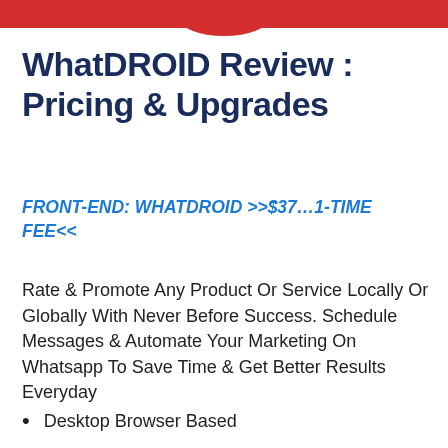[Figure (other): Red banner header with logo bump at top of page]
WhatDROID Review : Pricing & Upgrades
FRONT-END: WHATDROID >>$37…1-TIME FEE<<
Rate & Promote Any Product Or Service Locally Or Globally With Never Before Success. Schedule Messages & Automate Your Marketing On Whatsapp To Save Time & Get Better Results Everyday
Desktop Browser Based